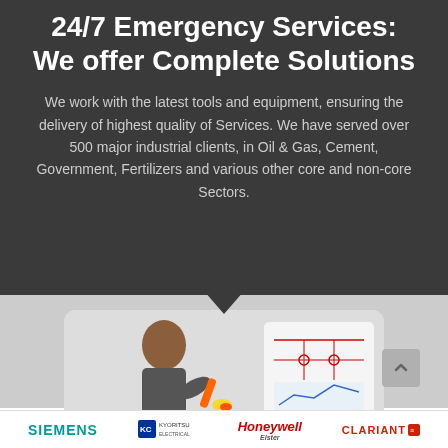24/7 Emergency Services: We offer Complete Solutions
We work with the latest tools and equipment, ensuring the delivery of highest quality of Services. We have served over 500 major industrial clients, in Oil & Gas, Cement, Government, Fertilizers and various other core and non-core Sectors.
[Figure (photo): Industrial worker in protective gear working with tools, alongside technical engineering diagrams and charts in the background]
SIEMENS | KYORITSU | Honeywell | CLARIANT